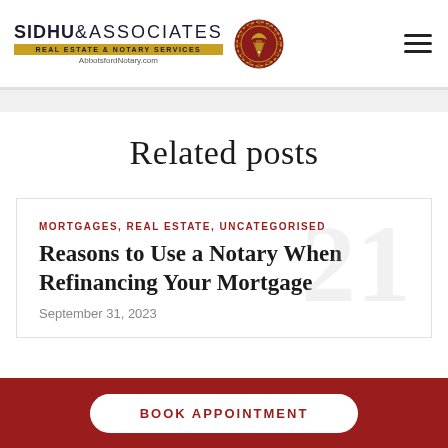[Figure (logo): Sidhu & Associates Real Estate & Notary Services logo with seal emblem and text AbbotsfordNotary.com]
Related posts
MORTGAGES, REAL ESTATE, UNCATEGORISED
Reasons to Use a Notary When Refinancing Your Mortgage
September 31, 2023
BOOK APPOINTMENT